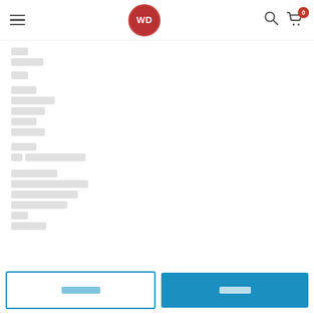WD [logo], hamburger menu, search icon, cart with badge 0
[content rows - redacted/placeholder text blocks]
[section row]
[multiple content rows]
[3 prefix row, multiple content rows]
Footer buttons: [outline button text] | [solid button text]